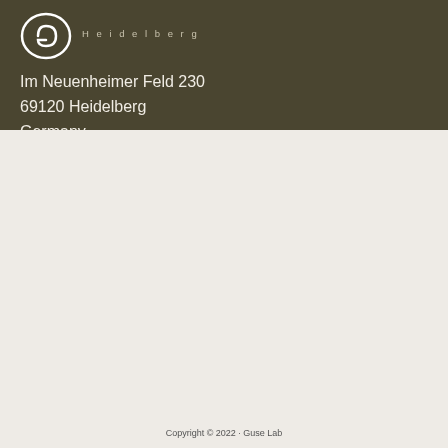[Figure (logo): Guse Lab logo — white circular/oval shape with stylized letter G or leaf motif, with 'Heidelberg' text in spaced caps to the right]
Im Neuenheimer Feld 230
69120 Heidelberg
Germany
Copyright © 2022 · Guse Lab